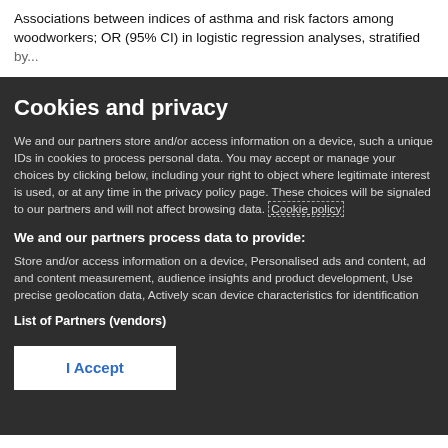Associations between indices of asthma and risk factors among woodworkers; OR (95% CI) in logistic regression analyses, stratified by...
Cookies and privacy
We and our partners store and/or access information on a device, such a unique IDs in cookies to process personal data. You may accept or manage your choices by clicking below, including your right to object where legitimate interest is used, or at any time in the privacy policy page. These choices will be signaled to our partners and will not affect browsing data. Cookie policy
We and our partners process data to provide:
Store and/or access information on a device, Personalised ads and content, ad and content measurement, audience insights and product development, Use precise geolocation data, Actively scan device characteristics for identification
List of Partners (vendors)
I Accept